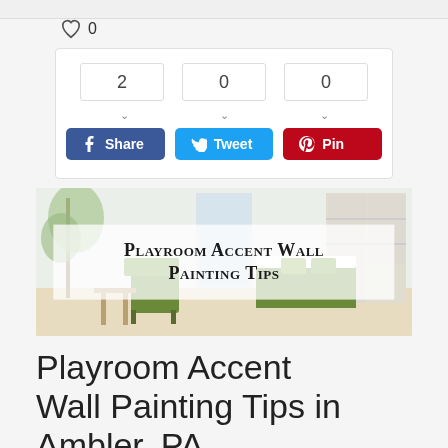[Figure (infographic): Social share widget showing count boxes (2, 0, 0) with dropdown arrows, and share buttons for Facebook (Share), Twitter (Tweet), and Pinterest (Pin)]
[Figure (photo): Photo of a bright playroom/bedroom with white walls, green furniture and bedding, with semi-transparent white overlay containing the title 'Playroom Accent Wall Painting Tips' in bold serif small-caps font]
Playroom Accent Wall Painting Tips in Ambler, PA